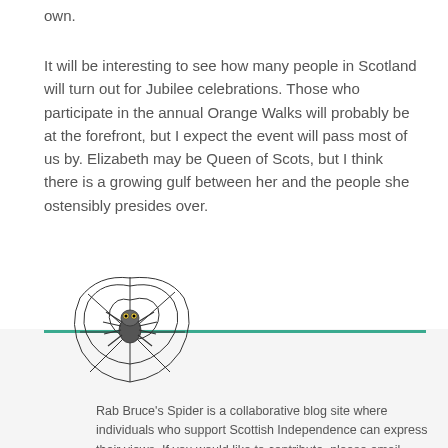own.
It will be interesting to see how many people in Scotland will turn out for Jubilee celebrations. Those who participate in the annual Orange Walks will probably be at the forefront, but I expect the event will pass most of us by. Elizabeth may be Queen of Scots, but I think there is a growing gulf between her and the people she ostensibly presides over.
[Figure (illustration): Spider web with cartoon spider logo for Rab Bruce's Spider blog]
Rab Bruce's Spider is a collaborative blog site where individuals who support Scottish Independence can express their views. If you would like to contribute, please email your suggested article to ga.author@sky.com.
Twitter
RSS